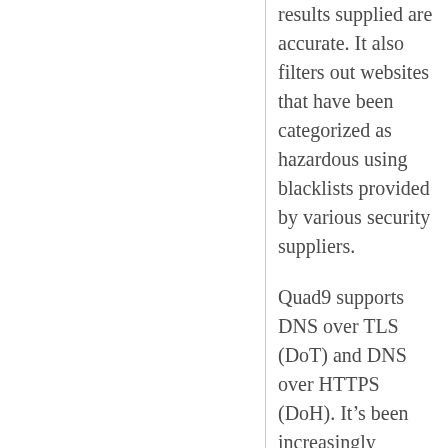results supplied are accurate. It also filters out websites that have been categorized as hazardous using blacklists provided by various security suppliers.
Quad9 supports DNS over TLS (DoT) and DNS over HTTPS (DoH). It’s been increasingly obvious in recent years that standard DNS has significant security flaws due to a lack of encryption. As a